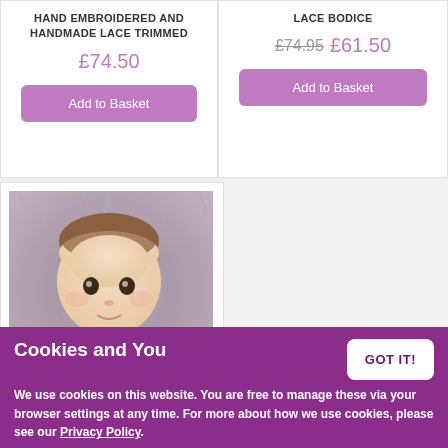HAND EMBROIDERED AND HANDMADE LACE TRIMMED
£74.50
Add to Basket
LACE BODICE
£74.95  £61.50
Add to Basket
[Figure (photo): Baby lying on a furry grey/purple blanket, wearing a white knit outfit, looking upward]
Cookies and You
GOT IT!
We use cookies on this website. You are free to manage these via your browser settings at any time. For more about how we use cookies, please see our Privacy Policy.